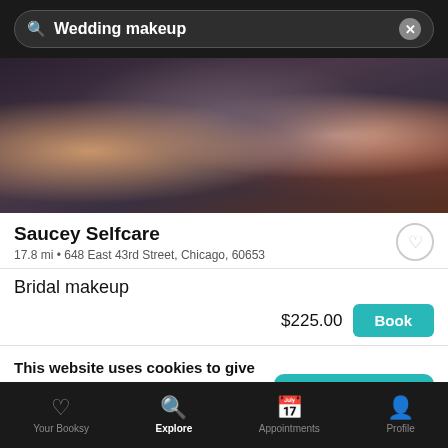Wedding makeup
[Figure (photo): Photo of people, partially cropped, showing hands with jewelry and bracelets against dark clothing backgrounds]
Saucey Selfcare
17.8 mi • 648 East 43rd Street, Chicago, 60653
Bridal makeup
$225.00
Book
This website uses cookies to give you an awesome, catered user experience.
Continuing on after seeing this message means that you're cool with that.
Ok, continue
Your Booksy  Explore  Appointments  Profile